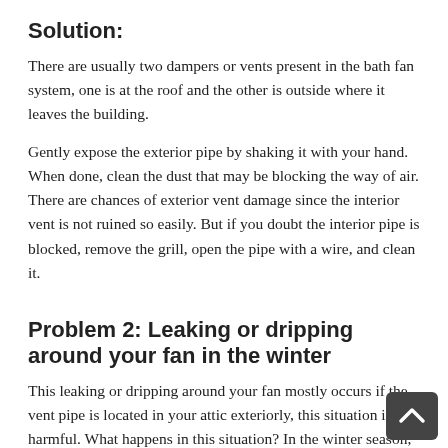Solution:
There are usually two dampers or vents present in the bath fan system, one is at the roof and the other is outside where it leaves the building.
Gently expose the exterior pipe by shaking it with your hand. When done, clean the dust that may be blocking the way of air. There are chances of exterior vent damage since the interior vent is not ruined so easily. But if you doubt the interior pipe is blocked, remove the grill, open the pipe with a wire, and clean it.
Problem 2: Leaking or dripping around your fan in the winter
This leaking or dripping around your fan mostly occurs if the vent pipe is located in your attic exteriorly, this situation is harmful. What happens in this situation? In the winter season, when you flip on your fan and send moisturized air in it, there will be a condensation process and moisture will start gathering inside th